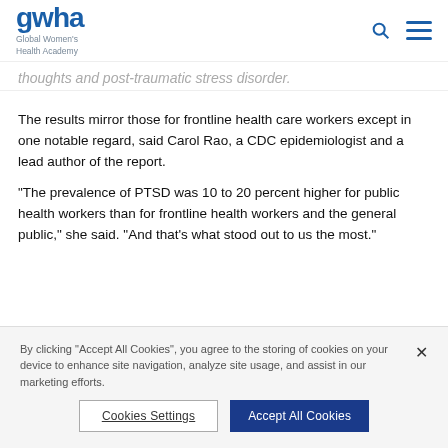gwha Global Women's Health Academy
thoughts and post-traumatic stress disorder.
The results mirror those for frontline health care workers except in one notable regard, said Carol Rao, a CDC epidemiologist and a lead author of the report.
“The prevalence of PTSD was 10 to 20 percent higher for public health workers than for frontline health workers and the general public,” she said. “And that’s what stood out to us the most.”
By clicking “Accept All Cookies”, you agree to the storing of cookies on your device to enhance site navigation, analyze site usage, and assist in our marketing efforts.
Cookies Settings
Accept All Cookies